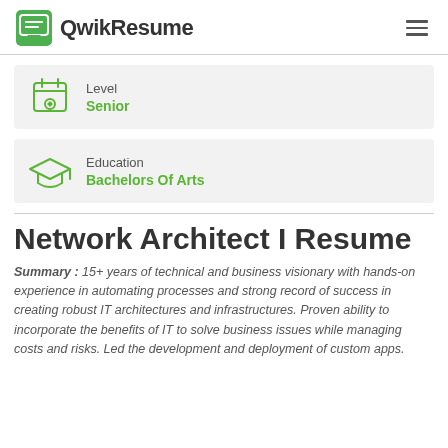QwikResume
Level
Senior
Education
Bachelors Of Arts
Network Architect I Resume
Summary : 15+ years of technical and business visionary with hands-on experience in automating processes and strong record of success in creating robust IT architectures and infrastructures. Proven ability to incorporate the benefits of IT to solve business issues while managing costs and risks. Led the development and deployment of custom apps.